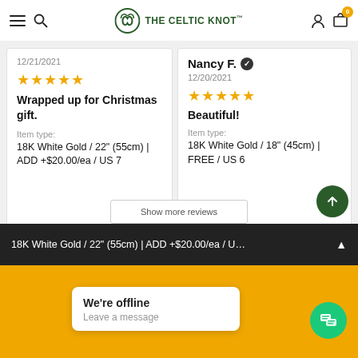THE CELTIC KNOT™
12/21/2021
★★★★★
Wrapped up for Christmas gift.
Item type: 18K White Gold / 22" (55cm) | ADD +$20.00/ea / US 7
Nancy F. ✓
12/20/2021
★★★★★
Beautiful!
Item type: 18K White Gold / 18" (45cm) | FREE / US 6
18K White Gold / 22" (55cm) | ADD +$20.00/ea / U…
We're offline
Leave a message